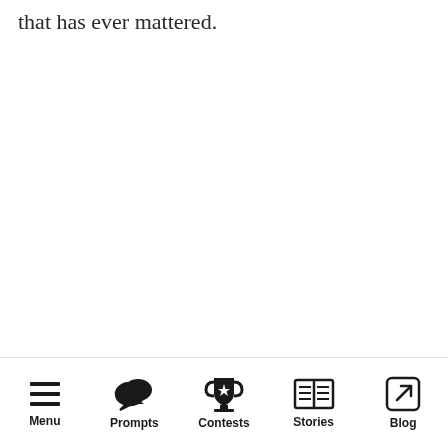that has ever mattered.
Menu | Prompts | Contests | Stories | Blog